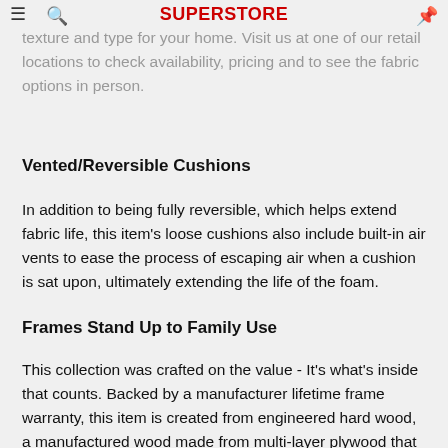SuperStore
to personalize this item with the perfect upholstery color, texture and type for your home. Visit us at one of our retail locations to check availability, pricing and to see the fabric options in person.
Vented/Reversible Cushions
In addition to being fully reversible, which helps extend fabric life, this item's loose cushions also include built-in air vents to ease the process of escaping air when a cushion is sat upon, ultimately extending the life of the foam.
Frames Stand Up to Family Use
This collection was crafted on the value - It's what's inside that counts. Backed by a manufacturer lifetime frame warranty, this item is created from engineered hard wood, a manufactured wood made from multi-layer plywood that provides strength at an outstanding value. The engineered hard wood is then precision cut for interlocking accuracy and reinforced at points that